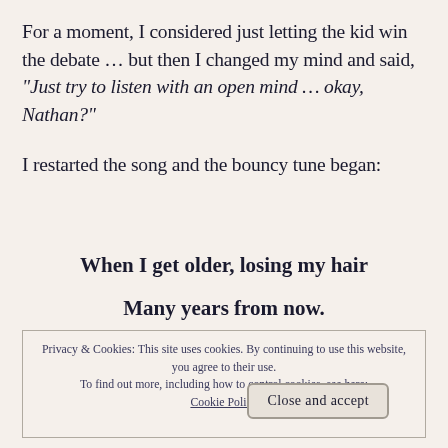For a moment, I considered just letting the kid win the debate … but then I changed my mind and said, “Just try to listen with an open mind … okay, Nathan?”
I restarted the song and the bouncy tune began:
When I get older, losing my hair
Many years from now.
Privacy & Cookies: This site uses cookies. By continuing to use this website, you agree to their use. To find out more, including how to control cookies, see here: Cookie Policy
Close and accept